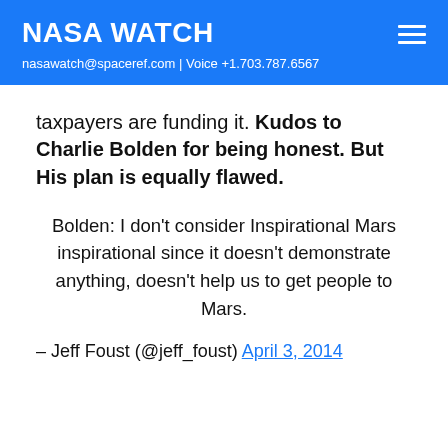NASA WATCH
nasawatch@spaceref.com | Voice +1.703.787.6567
taxpayers are funding it. Kudos to Charlie Bolden for being honest. But His plan is equally flawed.
Bolden: I don't consider Inspirational Mars inspirational since it doesn't demonstrate anything, doesn't help us to get people to Mars.
— Jeff Foust (@jeff_foust) April 3, 2014